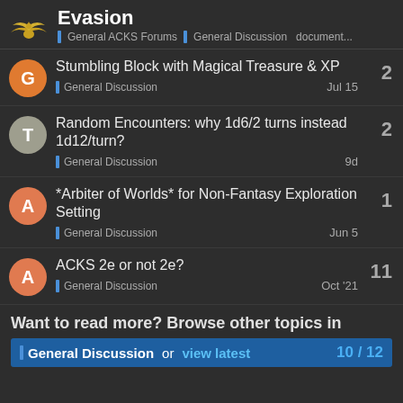Evasion — General ACKS Forums | General Discussion  document...
Stumbling Block with Magical Treasure & XP — General Discussion — Jul 15 — 2
Random Encounters: why 1d6/2 turns instead 1d12/turn? — General Discussion — 9d — 2
*Arbiter of Worlds* for Non-Fantasy Exploration Setting — General Discussion — Jun 5 — 1
ACKS 2e or not 2e? — General Discussion — Oct '21 — 11
Want to read more? Browse other topics in General Discussion or view latest  10 / 12